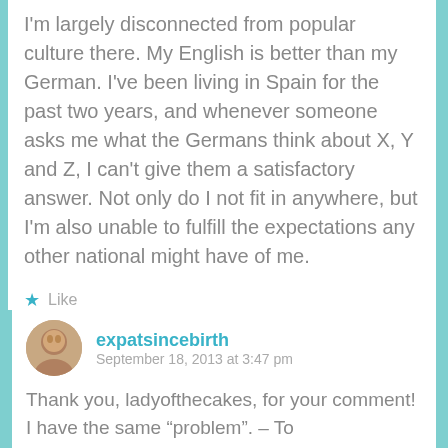I'm largely disconnected from popular culture there. My English is better than my German. I've been living in Spain for the past two years, and whenever someone asks me what the Germans think about X, Y and Z, I can't give them a satisfactory answer. Not only do I not fit in anywhere, but I'm also unable to fulfill the expectations any other national might have of me.
Like
REPLY
expatsincebirth
September 18, 2013 at 3:47 pm
Thank you, ladyofthecakes, for your comment! I have the same "problem". – To